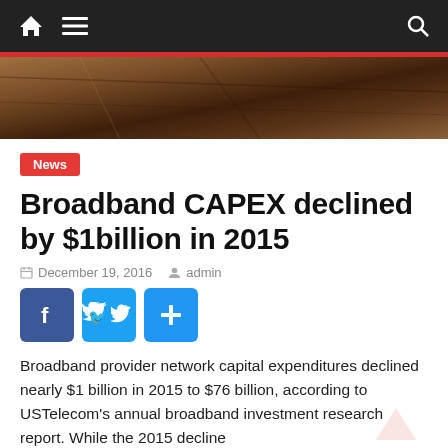Navigation bar with home, menu, and search icons
[Figure (photo): Hero image showing a dark brown wooden surface, close-up photograph]
News
Broadband CAPEX declined by $1billion in 2015
December 19, 2016   admin
[Figure (infographic): Social sharing buttons: Facebook, Twitter, Share (blue plus icon)]
Broadband provider network capital expenditures declined nearly $1 billion in 2015 to $76 billion, according to USTelecom's annual broadband investment research report. While the 2015 decline